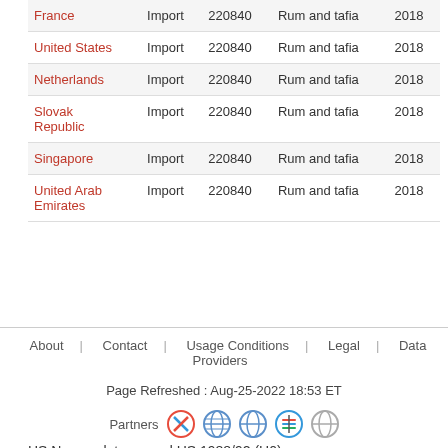| Country | Flow | Code | Description | Year |
| --- | --- | --- | --- | --- |
| France | Import | 220840 | Rum and tafia | 2018 |
| United States | Import | 220840 | Rum and tafia | 2018 |
| Netherlands | Import | 220840 | Rum and tafia | 2018 |
| Slovak Republic | Import | 220840 | Rum and tafia | 2018 |
| Singapore | Import | 220840 | Rum and tafia | 2018 |
| United Arab Emirates | Import | 220840 | Rum and tafia | 2018 |
HS Nomenclature used HS 1988/92 (H0)
HS Code 220840: Rum and tafia
Please note : Exports is gross exports and Imports is gross imports
About | Contact | Usage Conditions | Legal | Data Providers
Page Refreshed : Aug-25-2022 18:53 ET
Partners [logos]